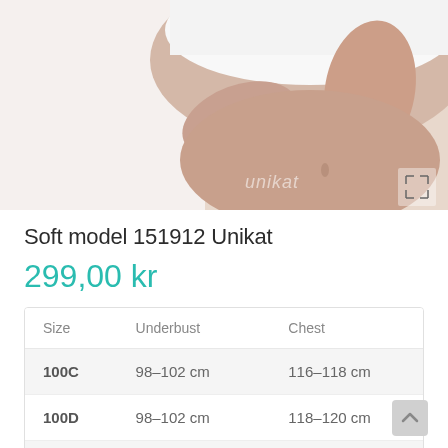[Figure (photo): Woman wearing white soft bra, arms crossed, torso view, with watermark 'unikat' on the image]
Soft model 151912 Unikat
299,00 kr
| Size | Underbust | Chest |
| --- | --- | --- |
| 100C | 98-102 cm | 116-118 cm |
| 100D | 98-102 cm | 118-120 cm |
| 100E | 98-102 cm | 120-122 cm |
| 105C | 103-107 cm | 121-123 cm |